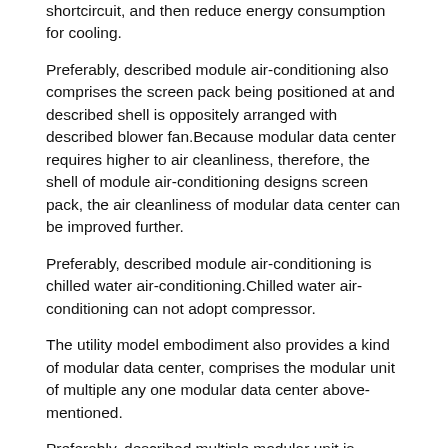shortcircuit, and then reduce energy consumption for cooling.
Preferably, described module air-conditioning also comprises the screen pack being positioned at and described shell is oppositely arranged with described blower fan.Because modular data center requires higher to air cleanliness, therefore, the shell of module air-conditioning designs screen pack, the air cleanliness of modular data center can be improved further.
Preferably, described module air-conditioning is chilled water air-conditioning.Chilled water air-conditioning can not adopt compressor.
The utility model embodiment also provides a kind of modular data center, comprises the modular unit of multiple any one modular data center above-mentioned.
Preferably, described multiple modular unit is uniformly distributed.Modular unit is uniformly distributed, and the air-flow between adjacent two modular units can be made to form the passage of heat, improve the circulation of air-flow, reduce the flow resistance of air-flow, and then reduce the energy consumption of blower fan.